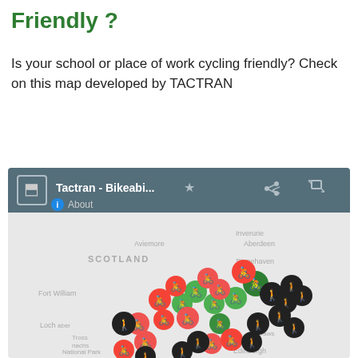Friendly ?
Is your school or place of work cycling friendly? Check on this map developed by TACTRAN
[Figure (screenshot): Screenshot of a Google Maps-based application titled 'Tactran - Bikeabi...' showing a map of Scotland with cycling-friendliness markers (red, green, and black circles with cyclist/pedestrian icons) clustered across central Scotland near Edinburgh, Stirling, and surrounding areas. Place names visible include Inverurie, Aberdeen, Stonehaven, Fort William, Scotland, Aviemore, Lochaber, Trossachs, National Park, and Edinburgh.]